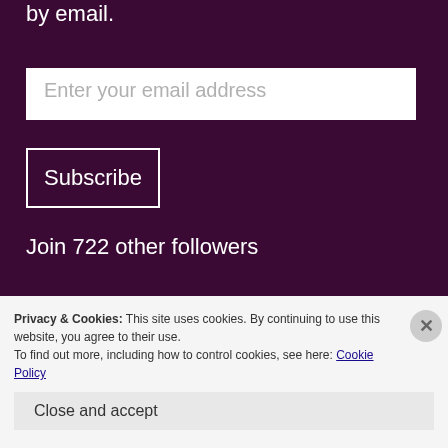by email.
Enter your email address
Subscribe
Join 722 other followers
August 2022
Privacy & Cookies: This site uses cookies. By continuing to use this website, you agree to their use. To find out more, including how to control cookies, see here: Cookie Policy
Close and accept